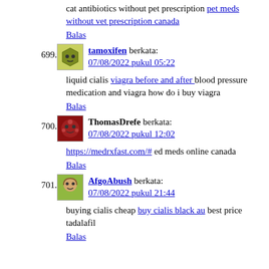cat antibiotics without pet prescription pet meds without vet prescription canada
Balas
699. tamoxifen berkata: 07/08/2022 pukul 05:22
liquid cialis viagra before and after blood pressure medication and viagra how do i buy viagra
Balas
700. ThomasDrefe berkata: 07/08/2022 pukul 12:02
https://medrxfast.com/# ed meds online canada
Balas
701. AfgoAbush berkata: 07/08/2022 pukul 21:44
buying cialis cheap buy cialis black au best price tadalafil
Balas